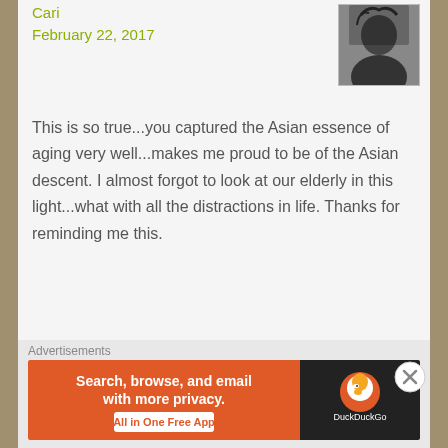Cari
February 22, 2017
[Figure (photo): Black and white avatar photo of commenter Cari]
This is so true...you captured the Asian essence of aging very well...makes me proud to be of the Asian descent. I almost forgot to look at our elderly in this light...what with all the distractions in life. Thanks for reminding me this.
Liked by 2 people
Reply
Marc and Ann
February 22, 2017
[Figure (photo): Color photo avatar of commenter Marc and Ann, blonde woman outdoors]
Thank you Cari! I'm a forever optimist..
Advertisements
[Figure (infographic): DuckDuckGo advertisement banner: Search, browse, and email with more privacy. All in One Free App]